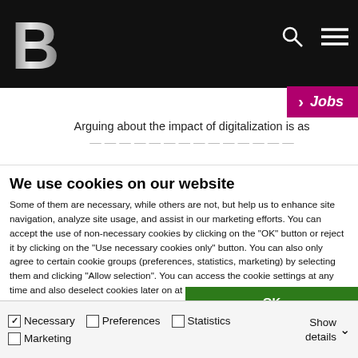B [logo] [search icon] [menu icon]
› Jobs
Arguing about the impact of digitalization is as
We use cookies on our website
Some of them are necessary, while others are not, but help us to enhance site navigation, analyze site usage, and assist in our marketing efforts. You can accept the use of non-necessary cookies by clicking on the "OK" button or reject it by clicking on the "Use necessary cookies only" button. You can also only agree to certain cookie groups (preferences, statistics, marketing) by selecting them and clicking "Allow selection". You can access the cookie settings at any time and also deselect cookies later on at any time. To do so, please go to our Privacy Policy, which contains further information and can be found in the footer of our website. Show Legal.
OK
Allow selection
Use necessary cookies only
☑ Necessary  ☐ Preferences  ☐ Statistics  ☐ Marketing  Show details ∨